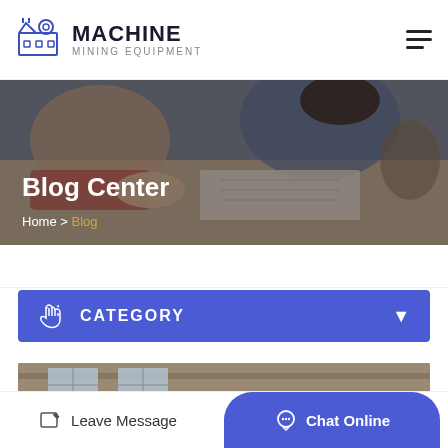MACHINE MINING EQUIPMENT
Blog Center
Home > Blog
CATEGORY
[Figure (photo): Industrial jaw crusher machine parts with large red and white circular wheels/flywheels in a factory warehouse setting]
Leave Message
Chat Online